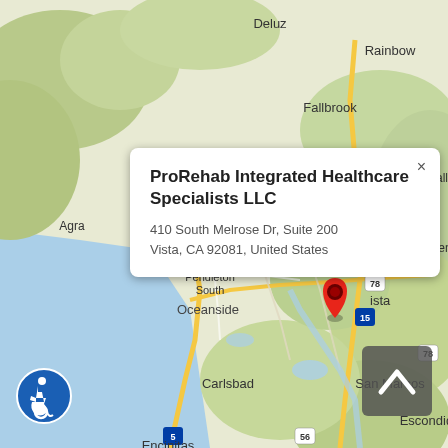[Figure (map): Google Maps screenshot showing the Vista, CA area including Camp Pendleton South, Oceanside, Carlsbad, San Marcos, Escondido, Encinitas, Rancho Santa Fe, Solana Beach, Del Mar, Poway, Valley Center, Pauma Valley, Fallbrook, Rainbow, Deluz, and Agra. A red location pin marks the business location near Vista. Highway markers for routes 5, 15, 76, 78, and 56 are visible.]
ProRehab Integrated Healthcare Specialists LLC
410 South Melrose Dr, Suite 200
Vista, CA 92081, United States